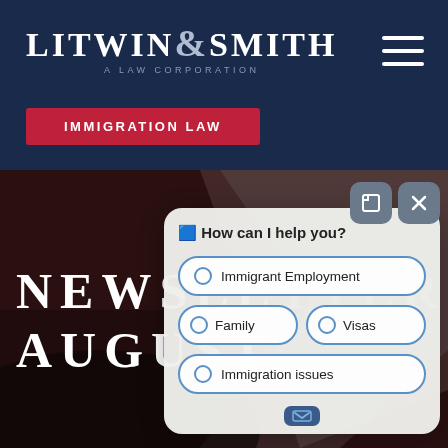LITWIN & SMITH A LAW CORPORATION
IMMIGRATION LAW
[Figure (photo): Close-up dark red/maroon textured background, possibly leather or fabric, with a diagonal light gray element]
NEWSLETTER AUGUST
[Figure (screenshot): Chat widget overlay with prompt 'How can I help you?' and options: Immigrant Employment, Family, Visas, Immigration issues]